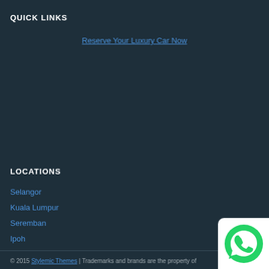QUICK LINKS
Reserve Your Luxury Car Now
LOCATIONS
Selangor
Kuala Lumpur
Seremban
Ipoh
[Figure (logo): WhatsApp logo icon in green on white background]
© 2015 Stylemic Themes | Trademarks and brands are the property of